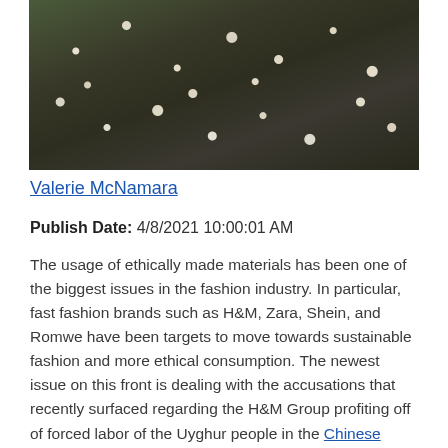[Figure (photo): A photograph of a cotton field, showing cotton plants with white cotton bolls against dark foliage and soil]
Valerie McNamara
Publish Date: 4/8/2021 10:00:01 AM
The usage of ethically made materials has been one of the biggest issues in the fashion industry. In particular, fast fashion brands such as H&M, Zara, Shein, and Romwe have been targets to move towards sustainable fashion and more ethical consumption. The newest issue on this front is dealing with the accusations that recently surfaced regarding the H&M Group profiting off of forced labor of the Uyghur people in the Chinese territory of Xinjiang.